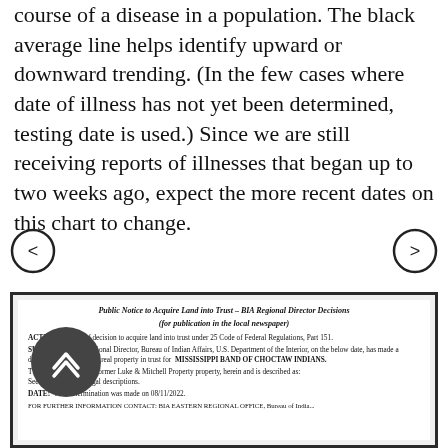course of a disease in a population. The black average line helps identify upward or downward trending. (In the few cases where date of illness has not yet been determined, testing date is used.) Since we are still receiving reports of illnesses that began up to two weeks ago, expect the more recent dates on this chart to change.
[Figure (other): Left navigation arrow button (circle with < symbol) and right navigation arrow button (circle with > symbol)]
[Figure (other): Embedded document screenshot showing a Public Notice to Acquire Land into Trust – BIA Regional Director Decisions, with a dark circular scroll-up overlay button on the lower left portion of the document.]